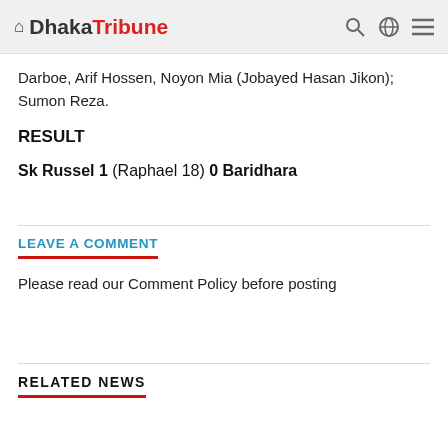Dhaka Tribune
Darboe, Arif Hossen, Noyon Mia (Jobayed Hasan Jikon); Sumon Reza.
RESULT
Sk Russel 1 (Raphael 18) 0 Baridhara
LEAVE A COMMENT
Please read our Comment Policy before posting
RELATED NEWS